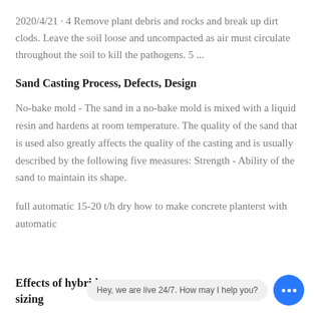2020/4/21 · 4 Remove plant debris and rocks and break up dirt clods. Leave the soil loose and uncompacted as air must circulate throughout the soil to kill the pathogens. 5 ...
Sand Casting Process, Defects, Design
No-bake mold - The sand in a no-bake mold is mixed with a liquid resin and hardens at room temperature. The quality of the sand that is used also greatly affects the quality of the casting and is usually described by the following five measures: Strength - Ability of the sand to maintain its shape.
full automatic 15-20 t/h dry how to make concrete planterst with automatic
Effects of hybrid y... n sizing